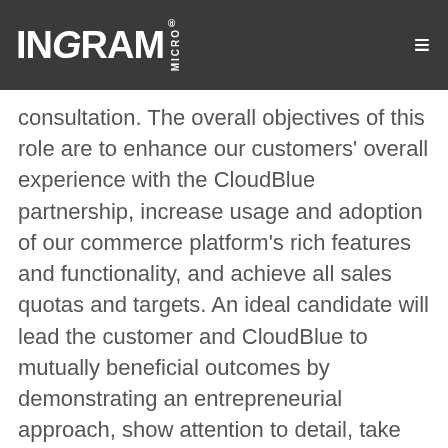INGRAM MICRO
consultation. The overall objectives of this role are to enhance our customers' overall experience with the CloudBlue partnership, increase usage and adoption of our commerce platform's rich features and functionality, and achieve all sales quotas and targets. An ideal candidate will lead the customer and CloudBlue to mutually beneficial outcomes by demonstrating an entrepreneurial approach, show attention to detail, take pride in increasing customer satisfaction, have a proven track record in sales, demonstrate some technical aptitude, be a great team player, and have a high capacity to multi-task under tight timelines.